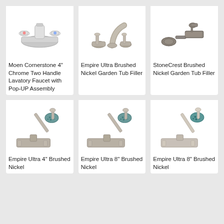[Figure (photo): Moen Cornerstone 4" Chrome Two Handle Lavatory Faucet with Pop-UP Assembly product photo]
Moen Cornerstone 4" Chrome Two Handle Lavatory Faucet with Pop-UP Assembly
[Figure (photo): Empire Ultra Brushed Nickel Garden Tub Filler product photo]
Empire Ultra Brushed Nickel Garden Tub Filler
[Figure (photo): StoneCrest Brushed Nickel Garden Tub Filler product photo]
StoneCrest Brushed Nickel Garden Tub Filler
[Figure (photo): Empire Ultra 4" Brushed Nickel product photo]
Empire Ultra 4" Brushed Nickel
[Figure (photo): Empire Ultra 8" Brushed Nickel product photo]
Empire Ultra 8" Brushed Nickel
[Figure (photo): Empire Ultra 8" Brushed Nickel product photo]
Empire Ultra 8" Brushed Nickel